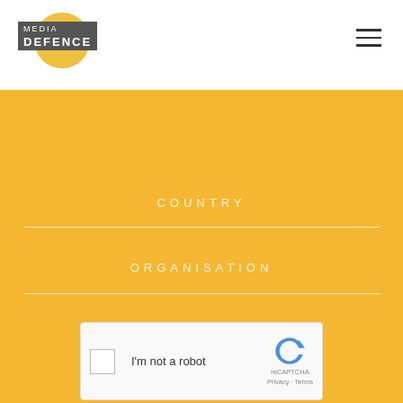[Figure (logo): Media Defence logo with yellow circle and grey text block]
COUNTRY
ORGANISATION
[Figure (screenshot): reCAPTCHA I'm not a robot checkbox widget]
SUBSCRIBE